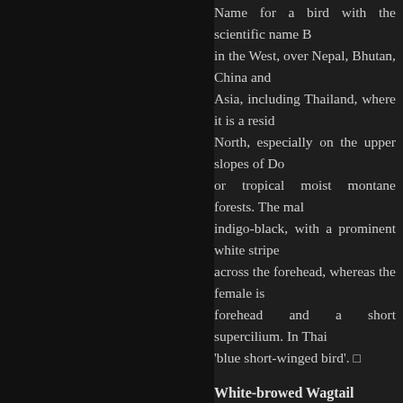Name for a bird with the scientific name B... in the West, over Nepal, Bhutan, China and... Asia, including Thailand, where it is a resid... North, especially on the upper slopes of Do... or tropical moist montane forests. The mal... indigo-black, with a prominent white stripe... across the forehead, whereas the female is... forehead and a short supercilium. In Thai... 'blue short-winged bird'.
White-browed Wagtail
Common name of a species of bird with the... With a size of about 21 centimeters, it is... Motacillidae. It has black upperparts, a bl... feathers, white underparts and white prima...